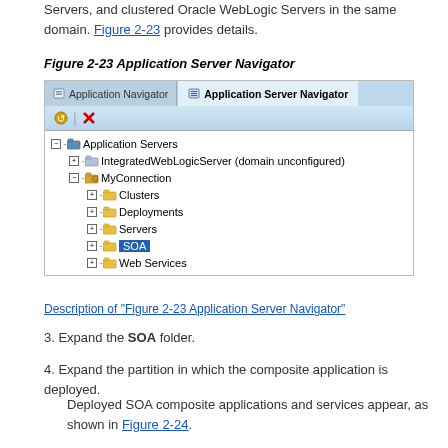Servers, and clustered Oracle WebLogic Servers in the same domain. Figure 2-23 provides details.
Figure 2-23 Application Server Navigator
[Figure (screenshot): Application Server Navigator screenshot showing a tree with Application Servers node, IntegratedWebLogicServer (domain unconfigured), MyConnection with sub-nodes: Clusters, Deployments, Servers, SOA (highlighted), Web Services]
Description of "Figure 2-23 Application Server Navigator"
3. Expand the SOA folder.
4. Expand the partition in which the composite application is deployed.
Deployed SOA composite applications and services appear, as shown in Figure 2-24.